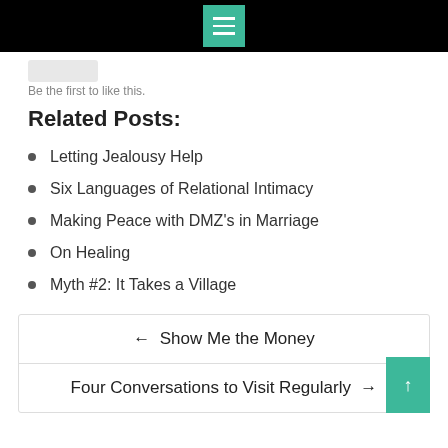Menu icon / navigation bar
Be the first to like this.
Related Posts:
Letting Jealousy Help
Six Languages of Relational Intimacy
Making Peace with DMZ's in Marriage
On Healing
Myth #2: It Takes a Village
← Show Me the Money
Four Conversations to Visit Regularly →